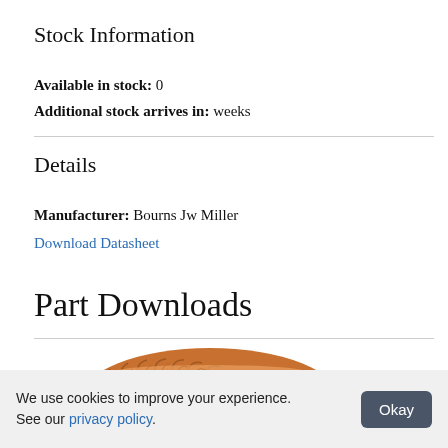Stock Information
Available in stock: 0
Additional stock arrives in: weeks
Details
Manufacturer: Bourns Jw Miller
Download Datasheet
Part Downloads
[Figure (photo): Image of a toroidal inductor coil with copper wire windings on a donut-shaped core]
We use cookies to improve your experience. See our privacy policy.